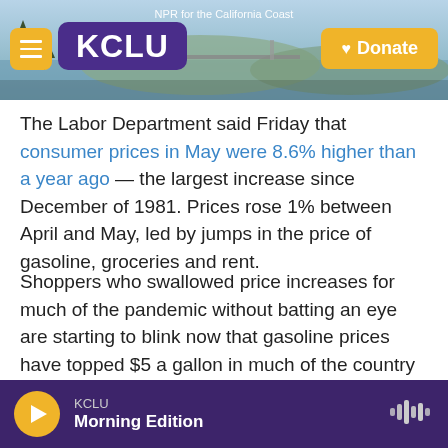NPR for the California Coast | KCLU | Donate
The Labor Department said Friday that consumer prices in May were 8.6% higher than a year ago — the largest increase since December of 1981. Prices rose 1% between April and May, led by jumps in the price of gasoline, groceries and rent.
Shoppers who swallowed price increases for much of the pandemic without batting an eye are starting to blink now that gasoline prices have topped $5 a gallon in much of the country and grocery prices continue to climb at a rapid rate.
KCLU Morning Edition